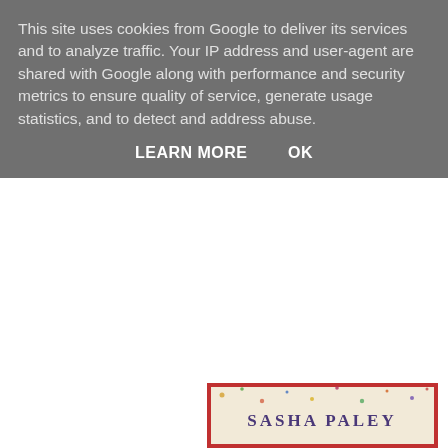This site uses cookies from Google to deliver its services and to analyze traffic. Your IP address and user-agent are shared with Google along with performance and security metrics to ensure quality of service, generate usage statistics, and to detect and address abuse.
LEARN MORE   OK
Huge by Sasha Paley - backlist copy from Simon & Schuster UK.
Sixteen-year-olds Wilhelmina and April meet at Wellness Springs, a posh fat camp in California. Wil is not happy to be there - her parents own a chain of gyms and see their overweight
[Figure (photo): Book cover of 'Huge' by Sasha Paley. The cover shows colorful frosting-style lettering on what appears to be a cake. Text reads: SASHA PALEY at top, then HUGE in large red frosting letters, then WELCOME TO FAT CAMP in colorful letters at the bottom.]